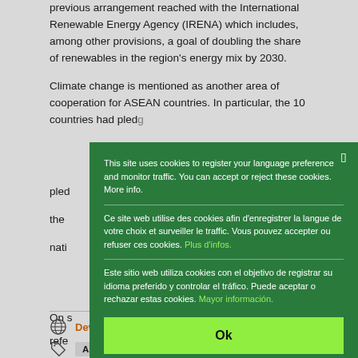previous arrangement reached with the International Renewable Energy Agency (IRENA) which includes, among other provisions, a goal of doubling the share of renewables in the region's energy mix by 2030.
Climate change is mentioned as another area of cooperation for ASEAN countries. In particular, the 10 countries had pled[ged...] the [...] nati[onal...]
On s[...] refe[rence...] goa[l...] Sus[tainable...]
[Figure (screenshot): Cookie consent modal overlay on a green background. Contains trilingual cookie notice text in English, French, and Spanish, with an Ok button.]
Dev[elopment]
ASEAN   RCEP